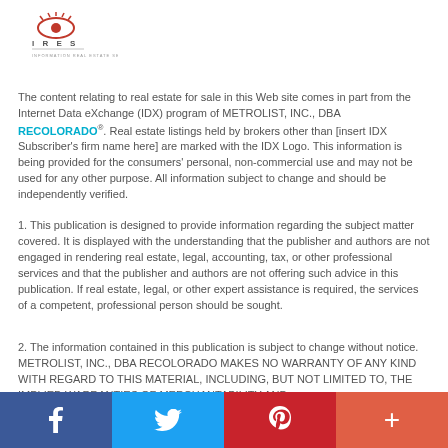[Figure (logo): IRES logo with stylized eye graphic and text 'I R E S']
The content relating to real estate for sale in this Web site comes in part from the Internet Data eXchange (IDX) program of METROLIST, INC., DBA RECOLORADO®. Real estate listings held by brokers other than [insert IDX Subscriber's firm name here] are marked with the IDX Logo. This information is being provided for the consumers' personal, non-commercial use and may not be used for any other purpose. All information subject to change and should be independently verified.
1. This publication is designed to provide information regarding the subject matter covered. It is displayed with the understanding that the publisher and authors are not engaged in rendering real estate, legal, accounting, tax, or other professional services and that the publisher and authors are not offering such advice in this publication. If real estate, legal, or other expert assistance is required, the services of a competent, professional person should be sought.
2. The information contained in this publication is subject to change without notice. METROLIST, INC., DBA RECOLORADO MAKES NO WARRANTY OF ANY KIND WITH REGARD TO THIS MATERIAL, INCLUDING, BUT NOT LIMITED TO, THE IMPLIED WARRANTIES OF MERCHANTABILITY AND
[Figure (infographic): Social media share bar with Facebook, Twitter, Pinterest, and plus buttons]